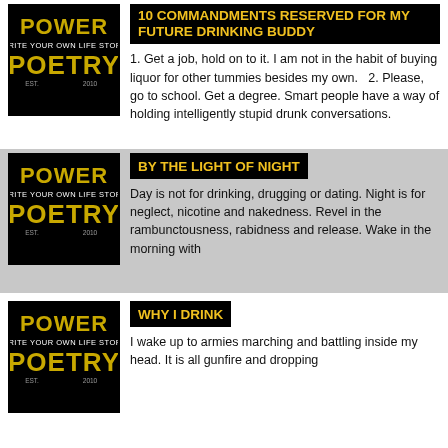[Figure (logo): Power Poetry logo - black background with text POWER WRITE YOUR OWN LIFE STORY POETRY in decorative gold/white lettering]
10 COMMANDMENTS RESERVED FOR MY FUTURE DRINKING BUDDY
1. Get a job, hold on to it. I am not in the habit of buying liquor for other tummies besides my own.   2. Please, go to school. Get a degree. Smart people have a way of holding intelligently stupid drunk conversations.
[Figure (logo): Power Poetry logo - black background with text POWER WRITE YOUR OWN LIFE STORY POETRY in decorative gold/white lettering]
BY THE LIGHT OF NIGHT
Day is not for drinking, drugging or dating. Night is for neglect, nicotine and nakedness. Revel in the rambunctousness, rabidness and release. Wake in the morning with
[Figure (logo): Power Poetry logo - black background with text POWER WRITE YOUR OWN LIFE STORY POETRY in decorative gold/white lettering]
WHY I DRINK
I wake up to armies marching and battling inside my head. It is all gunfire and dropping